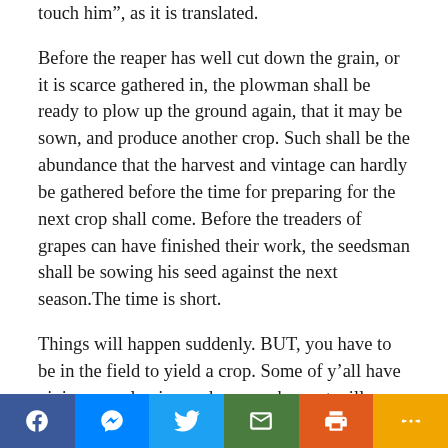touch him”, as it is translated.
Before the reaper has well cut down the grain, or it is scarce gathered in, the plowman shall be ready to plow up the ground again, that it may be sown, and produce another crop. Such shall be the abundance that the harvest and vintage can hardly be gathered before the time for preparing for the next crop shall come. Before the treaders of grapes can have finished their work, the seedsman shall be sowing his seed against the next season.The time is short.
Things will happen suddenly. BUT, you have to be in the field to yield a crop. Some of y’all have giviven up plowing and so your harvest will never come to its fruition. You will not be fruitful because you haven’t been faithful. There’s not a lot of talk of the